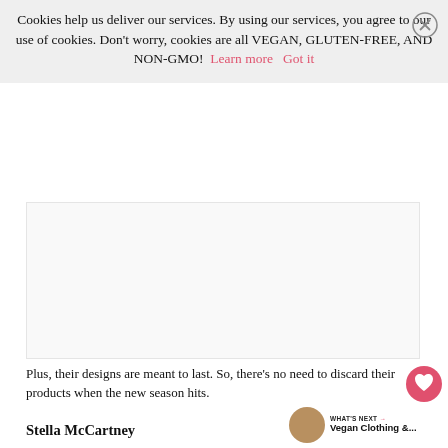Cookies help us deliver our services. By using our services, you agree to our use of cookies. Don't worry, cookies are all VEGAN, GLUTEN-FREE, AND NON-GMO!  Learn more   Got it
[Figure (other): Advertisement placeholder box]
Plus, their designs are meant to last. So, there's no need to discard their products when the new season hits.
Stella McCartney